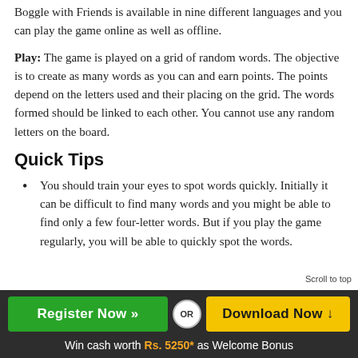Boggle with Friends is available in nine different languages and you can play the game online as well as offline.
Play: The game is played on a grid of random words. The objective is to create as many words as you can and earn points. The points depend on the letters used and their placing on the grid. The words formed should be linked to each other. You cannot use any random letters on the board.
Quick Tips
You should train your eyes to spot words quickly. Initially it can be difficult to find many words and you might be able to find only a few four-letter words. But if you play the game regularly, you will be able to quickly spot the words.
Register Now » OR Download Now ↓ Win cash worth Rs. 5250* as Welcome Bonus